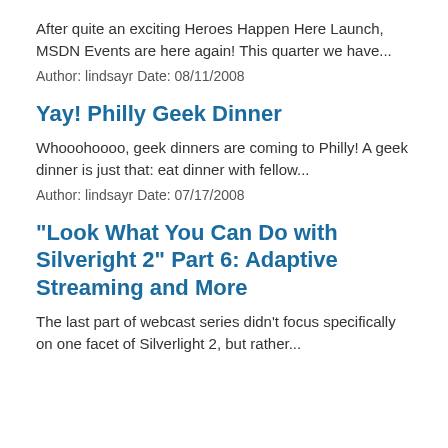After quite an exciting Heroes Happen Here Launch, MSDN Events are here again! This quarter we have...
Author: lindsayr Date: 08/11/2008
Yay! Philly Geek Dinner
Whooohoooo, geek dinners are coming to Philly! A geek dinner is just that: eat dinner with fellow...
Author: lindsayr Date: 07/17/2008
"Look What You Can Do with Silveright 2" Part 6: Adaptive Streaming and More
The last part of webcast series didn't focus specifically on one facet of Silverlight 2, but rather...